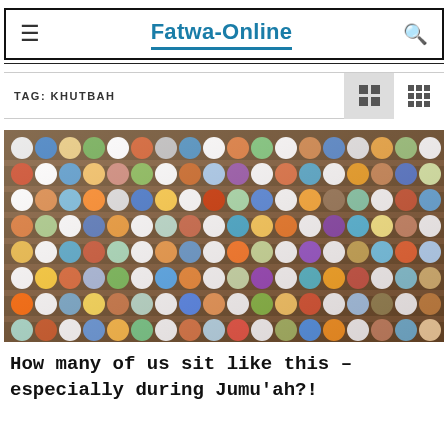Fatwa-Online
TAG: KHUTBAH
[Figure (photo): Aerial view of a large congregation of Muslims praying in rows, viewed from above, wearing colorful clothing, in a mosque or prayer hall.]
How many of us sit like this – especially during Jumu'ah?!